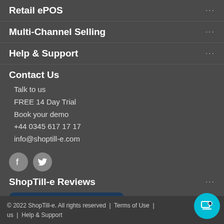Retail ePOS
Multi-Channel Selling
Help & Support
Contact Us
Talk to us
FREE 14 Day Trial
Book your demo
+44 0345 617 17 17
info@shoptill-e.com
[Figure (logo): Facebook and Twitter social icons]
ShopTill-e Reviews
[Figure (logo): Capterra badge showing 4.9 stars rating]
© 2022 ShopTill-e. All rights reserved | Terms of Use | us | Help & Support